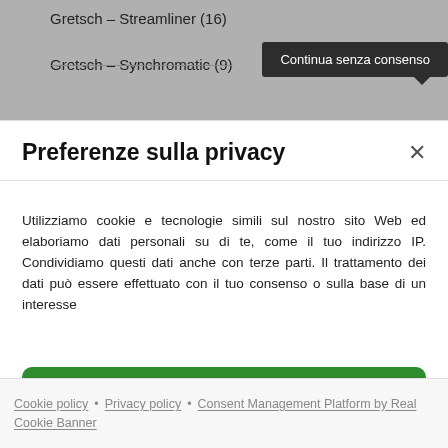Gretsch – Streamliner (16)
Gretsch – Synchromatic (9)
Continua senza consenso
Preferenze sulla privacy
Utilizziamo cookie e tecnologie simili sul nostro sito Web ed elaboriamo dati personali su di te, come il tuo indirizzo IP. Condividiamo questi dati anche con terze parti. Il trattamento dei dati può essere effettuato con il tuo consenso o sulla base di un interesse
Accetta tutti
Continua senza consenso
Preferenze sulla privacy individuali
Cookie policy • Privacy policy • Consent Management Platform by Real Cookie Banner